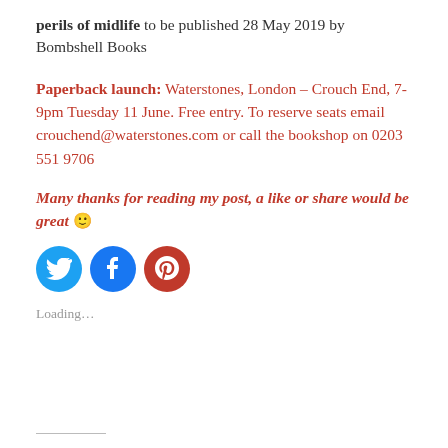perils of midlife to be published 28 May 2019 by Bombshell Books
Paperback launch: Waterstones, London – Crouch End, 7-9pm Tuesday 11 June. Free entry. To reserve seats email crouchend@waterstones.com or call the bookshop on 0203 551 9706
Many thanks for reading my post, a like or share would be great 🙂
[Figure (other): Social media share icons: Twitter (blue circle), Facebook (blue circle), Pinterest (red circle)]
Loading...